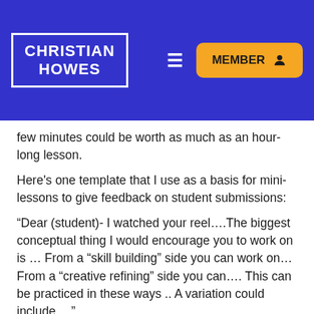[Figure (screenshot): Navigation bar with Christian Howes logo in blue box, hamburger menu icon, and orange MEMBER button with user icon]
few minutes could be worth as much as an hour-long lesson.
Here's one template that I use as a basis for mini-lessons to give feedback on student submissions:
“Dear (student)- I watched your reel….The biggest conceptual thing I would encourage you to work on is … From a “skill building” side you can work on… From a “creative refining” side you can…. This can be practiced in these ways .. A variation could include …”
But isn’t this all too, well, impersonal?
Some teachers worry that flipping the music classroom or studio will result in less personal connection with their